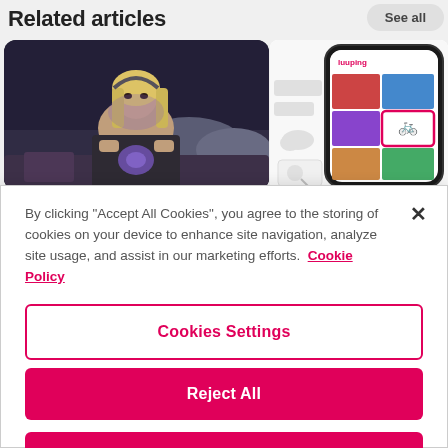Related articles
[Figure (photo): Person (blonde woman) lying in bed using a MacBook laptop in a dark room, illuminated by the laptop screen]
[Figure (screenshot): Partial screenshot of a mobile app (Luuping) showing a smartphone with a grid of travel/activity images and icons]
By clicking "Accept All Cookies", you agree to the storing of cookies on your device to enhance site navigation, analyze site usage, and assist in our marketing efforts.  Cookie Policy
Cookies Settings
Reject All
Accept All Cookies